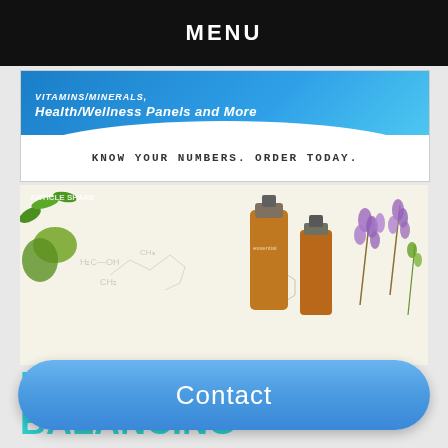MENU
[Figure (screenshot): Blue banner advertisement showing 'VITAMINS/MINERALS, HEALTH/WELLNESS PANELS AND MORE' with text 'KNOW YOUR NUMBERS. ORDER TODAY.' on white background]
[Figure (photo): Photo of essential oil bottles with amber glass dropper bottles, yellow flowers, lavender sprigs, and chemical formula diagrams on white background]
EMOTIONALLY BALANCING ESSENTIAL OILS
[Figure (screenshot): Partial image showing essential oils products with green container and book]
Contact